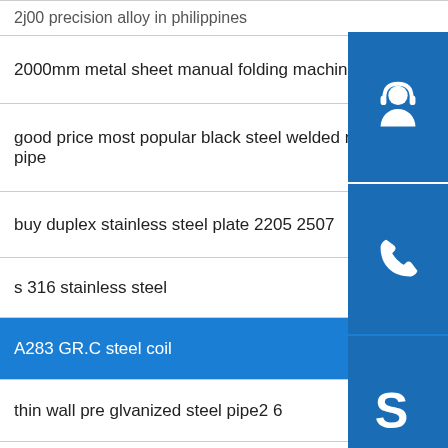2j00 precision alloy in philippines
2000mm metal sheet manual folding machine
good price most popular black steel welded rectangular pipe
buy duplex stainless steel plate 2205 2507
s 316 stainless steel
A283 GR.C steel coil
thin wall pre glvanized steel pipe2 6
304l grade 1 2mm stainless steel sheet price
carbon steel standard steel plate sizes